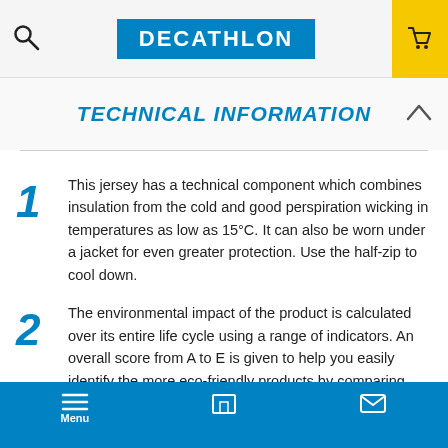DECATHLON
TECHNICAL INFORMATION
This jersey has a technical component which combines insulation from the cold and good perspiration wicking in temperatures as low as 15°C. It can also be worn under a jacket for even greater protection. Use the half-zip to cool down.
The environmental impact of the product is calculated over its entire life cycle using a range of indicators. An overall score from A to E is given to help you easily identify the more eco-friendly products by comparing products of that same type (T-shirts, trousers, backpacks, etc.) Decathlon is committed to displaying the environmental information of its products. For more information visit: http://sustainability.decathlon.com/
Menu